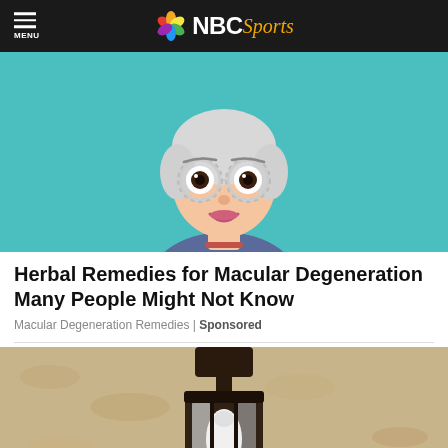MENU | NBC Sports
[Figure (illustration): Cartoon illustration of an elderly woman with white hair wearing circular optometry trial frames/glasses, smiling, on a teal/turquoise background]
Herbal Remedies for Macular Degeneration Many People Might Not Know
Macular Degeneration Remedies | Sponsored
[Figure (photo): Photo of an outdoor wall-mounted lantern/light fixture with a white LED bulb, mounted on a textured stucco wall]